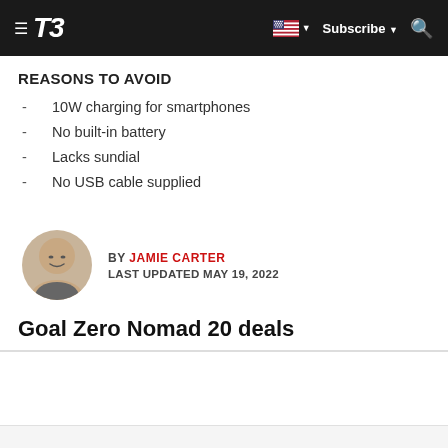T3 | Subscribe
REASONS TO AVOID
10W charging for smartphones
No built-in battery
Lacks sundial
No USB cable supplied
BY JAMIE CARTER
LAST UPDATED MAY 19, 2022
Goal Zero Nomad 20 deals